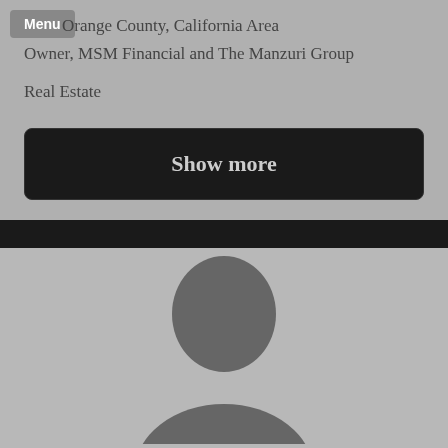Menu
Orange County, California Area
Owner, MSM Financial and The Manzuri Group
Real Estate
Show more
[Figure (photo): Profile silhouette placeholder image showing a generic grey person outline on a grey background]